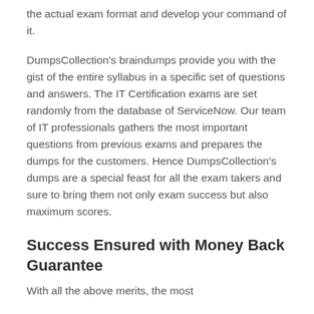the actual exam format and develop your command of it.
DumpsCollection's braindumps provide you with the gist of the entire syllabus in a specific set of questions and answers. The IT Certification exams are set randomly from the database of ServiceNow. Our team of IT professionals gathers the most important questions from previous exams and prepares the dumps for the customers. Hence DumpsCollection's dumps are a special feast for all the exam takers and sure to bring them not only exam success but also maximum scores.
Success Ensured with Money Back Guarantee
With all the above merits, the most